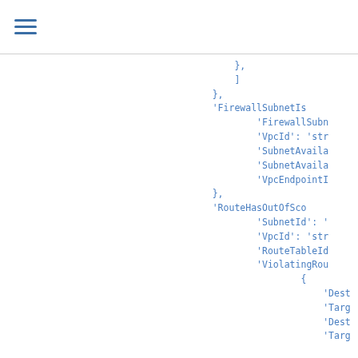≡
},
                ]
            },
            'FirewallSubnetIs
                    'FirewallSubn
                    'VpcId': 'str
                    'SubnetAvaila
                    'SubnetAvaila
                    'VpcEndpointI
            },
            'RouteHasOutOfSco
                    'SubnetId': '
                    'VpcId': 'str
                    'RouteTableId
                    'ViolatingRou
                            {
                                'Dest
                                'Targ
                                'Dest
                                'Targ

                    },
                ]